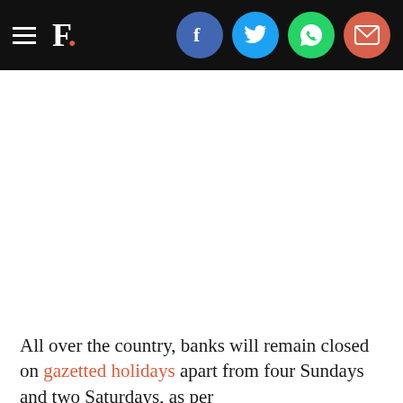F. [logo with social share icons: Facebook, Twitter, WhatsApp, Email]
All over the country, banks will remain closed on gazetted holidays apart from four Sundays and two Saturdays, as per